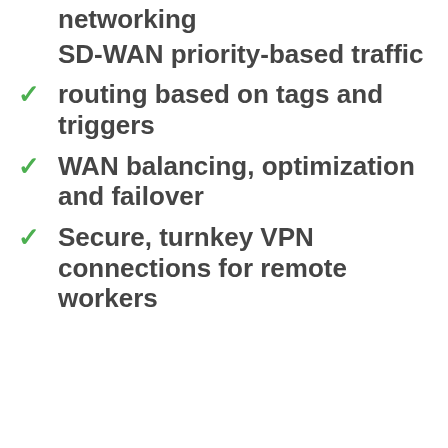networking
SD-WAN priority-based traffic
routing based on tags and triggers
WAN balancing, optimization and failover
Secure, turnkey VPN connections for remote workers